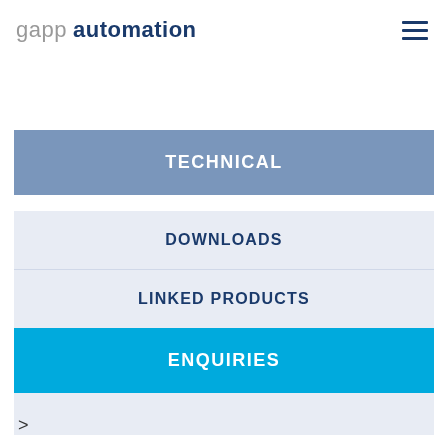gapp automation
TECHNICAL
DOWNLOADS
LINKED PRODUCTS
ENQUIRIES
>